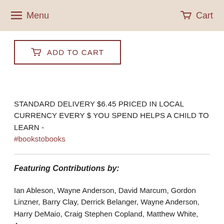Menu   Cart
[Figure (other): Add to Cart button with cart icon, dark red border]
STANDARD DELIVERY $6.45 PRICED IN LOCAL CURRENCY EVERY $ YOU SPEND HELPS A CHILD TO LEARN - #bookstobooks
Featuring Contributions by:
Ian Ableson, Wayne Anderson, David Marcum, Gordon Linzner, Barry Clay, Derrick Belanger, Wayne Anderson, Harry DeMaio, Craig Stephen Copland, Matthew White, J...